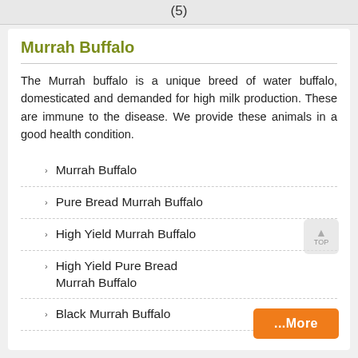(5)
Murrah Buffalo
The Murrah buffalo is a unique breed of water buffalo, domesticated and demanded for high milk production. These are immune to the disease. We provide these animals in a good health condition.
Murrah Buffalo
Pure Bread Murrah Buffalo
High Yield Murrah Buffalo
High Yield Pure Bread Murrah Buffalo
Black Murrah Buffalo